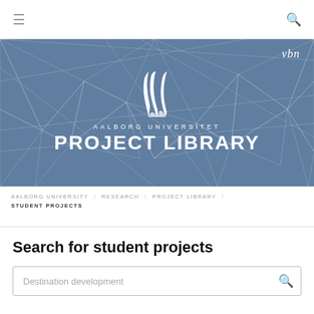≡   🔍
[Figure (screenshot): Aalborg Universitet Project Library hero banner with geometric polygon background pattern in slate blue, AAU feather logo, 'vbn' branding top right, text 'AALBORG UNIVERSITET' and 'PROJECT LIBRARY']
AALBORG UNIVERSITY / RESEARCH / PROJECT LIBRARY / STUDENT PROJECTS
Search for student projects
Destination development